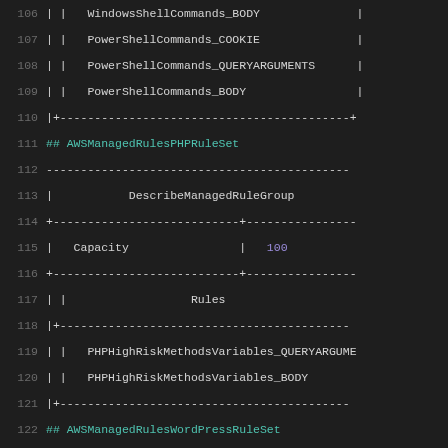106   ||   WindowsShellCommands_BODY
107   ||   PowerShellCommands_COOKIE
108   ||   PowerShellCommands_QUERYARGUMENTS
109   ||   PowerShellCommands_BODY
110   |+---...---+
111   ## AWSManagedRulesPHPRuleSet
112   ---...---
113   |   DescribeManagedRuleGroup
114   +---...---+---...---
115   |   Capacity   |   100
116   +---...---+---...---
117   ||   Rules
118   |+---...---
119   ||   PHPHighRiskMethodsVariables_QUERYARGU...
120   ||   PHPHighRiskMethodsVariables_BODY
121   |+---...---
122   ## AWSManagedRulesWordPressRuleSet
123   ---...---
124   |   DescribeManagedRuleGroup
125   +---...---+---...---
126   |   Capacity   |   100